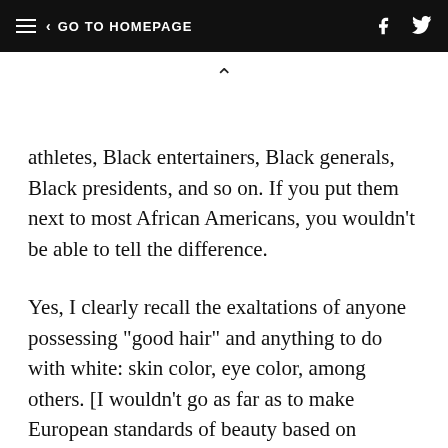≡  < GO TO HOMEPAGE
athletes, Black entertainers, Black generals, Black presidents, and so on. If you put them next to most African Americans, you wouldn't be able to tell the difference.
Yes, I clearly recall the exaltations of anyone possessing "good hair" and anything to do with white: skin color, eye color, among others. [I wouldn't go as far as to make European standards of beauty based on symmetry standard since symmetrical people tend to exist in all races and ethnicities and, they too, are